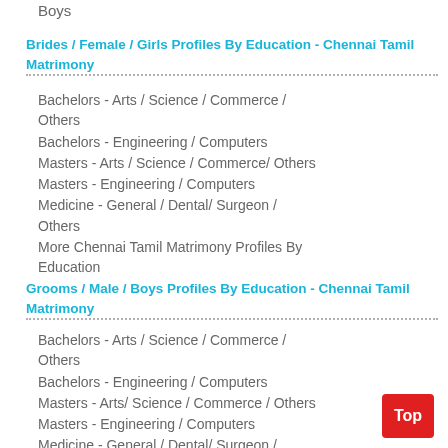Boys
Brides / Female / Girls Profiles By Education - Chennai Tamil Matrimony
Bachelors - Arts / Science / Commerce / Others
Bachelors - Engineering / Computers
Masters - Arts / Science / Commerce/ Others
Masters - Engineering / Computers
Medicine - General / Dental/ Surgeon / Others
More Chennai Tamil Matrimony Profiles By Education
Grooms / Male / Boys Profiles By Education - Chennai Tamil Matrimony
Bachelors - Arts / Science / Commerce / Others
Bachelors - Engineering / Computers
Masters - Arts/ Science / Commerce / Others
Masters - Engineering / Computers
Medicine - General / Dental/ Surgeon /